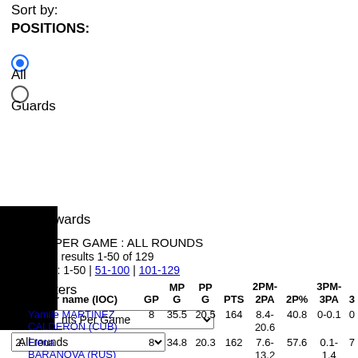Sort by:
POSITIONS:
All (selected)
Guards
Forwards
Centers
Points Per Game (dropdown)
All rounds (dropdown)
Submit
POINTS PER GAME : ALL ROUNDS
Displaying results 1-50 of 129
RESULTS: 1-50 | 51-100 | 101-129
|  | Player name (IOC) | GP | MPG | PPG | PTS | 2PM-2PA | 2P% | 3PM-3PA | 3 |
| --- | --- | --- | --- | --- | --- | --- | --- | --- | --- |
| 1. | Yamile MARTINEZ CALDERÓN (CUB) | 8 | 35.5 | 20.5 | 164 | 8.4-20.6 | 40.8 | 0-0.1 | 0 |
| 2. | Elena BARANOVA (RUS) | 8 | 34.8 | 20.3 | 162 | 7.6-13.2 | 57.6 | 0.1-1.4 | 7 |
| 3. | Lisa DeShaun LESLIE (USA) | 8 | 23 | 19.5 | 156 | 8-12.1 | 66.1 | 0-0.1 | 0 |